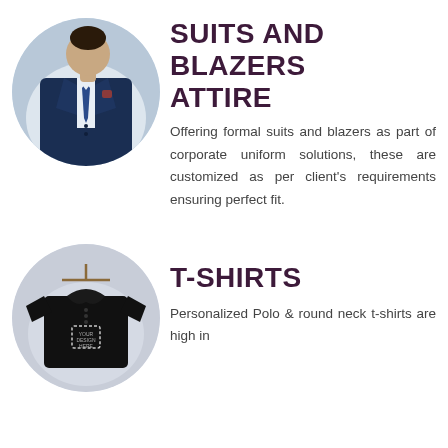[Figure (photo): Circular cropped photo of a man wearing a navy blue formal suit with a tie and pocket square]
SUITS AND BLAZERS ATTIRE
Offering formal suits and blazers as part of corporate uniform solutions, these are customized as per client's requirements ensuring perfect fit.
[Figure (photo): Circular cropped photo of a black polo t-shirt on a hanger with a logo placeholder on the chest]
T-SHIRTS
Personalized Polo & round neck t-shirts are high in